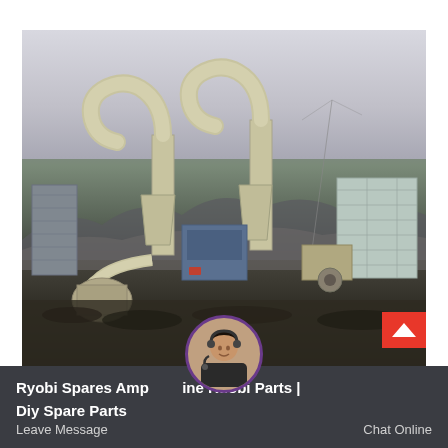[Figure (photo): Outdoor industrial milling facility with two large cyclone dust collector units with curved pipe intakes, connected to grinding mill equipment. Industrial machines in beige/cream color against a hazy sky with mountains in background. Ground is dark/rocky. Blue control panel visible center. Additional industrial structure on right side.]
Ryobi Spares Amp Online Ruobi Parts | Diy Spare Parts
Leave Message
Chat Online